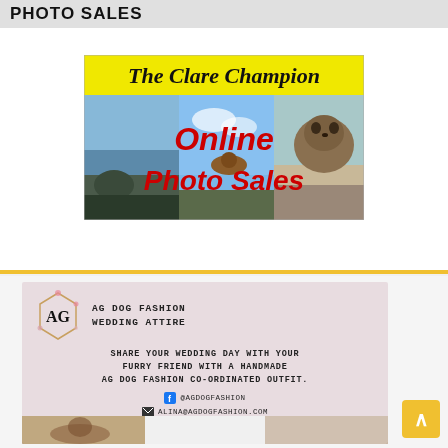PHOTO SALES
[Figure (advertisement): The Clare Champion Online Photo Sales banner advertisement with yellow header and outdoor/animal photo collage with red text 'Online Photo Sales']
[Figure (advertisement): AG Dog Fashion Wedding Attire advertisement on pink/mauve background with logo, typewriter font text: 'SHARE YOUR WEDDING DAY WITH YOUR FURRY FRIEND WITH A HANDMADE AG DOG FASHION CO-ORDINATED OUTFIT.' with Facebook @AGDOGFASHION and email ALINA@AGDOGFASHION.COM]